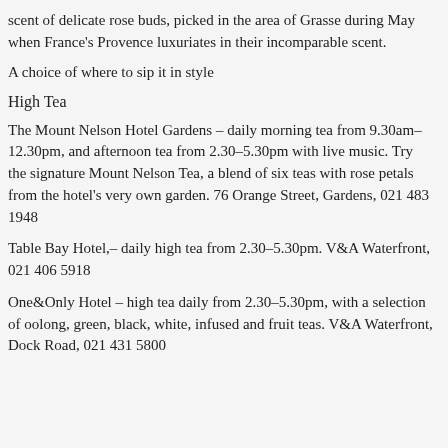scent of delicate rose buds, picked in the area of Grasse during May when France's Provence luxuriates in their incomparable scent.
A choice of where to sip it in style
High Tea
The Mount Nelson Hotel Gardens – daily morning tea from 9.30am–12.30pm, and afternoon tea from 2.30–5.30pm with live music. Try the signature Mount Nelson Tea, a blend of six teas with rose petals from the hotel's very own garden. 76 Orange Street, Gardens, 021 483 1948
Table Bay Hotel,– daily high tea from 2.30–5.30pm. V&A Waterfront, 021 406 5918
One&Only Hotel – high tea daily from 2.30–5.30pm, with a selection of oolong, green, black, white, infused and fruit teas. V&A Waterfront, Dock Road, 021 431 5800